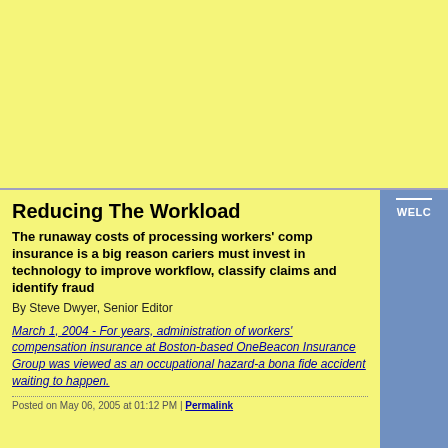[Figure (other): Yellow background banner/header area at top of page]
Reducing The Workload
The runaway costs of processing workers' comp insurance is a big reason cariers must invest in technology to improve workflow, classify claims and identify fraud
By Steve Dwyer, Senior Editor
March 1, 2004 - For years, administration of workers' compensation insurance at Boston-based OneBeacon Insurance Group was viewed as an occupational hazard-a bona fide accident waiting to happen.
Posted on May 06, 2005 at 01:12 PM | Permalink